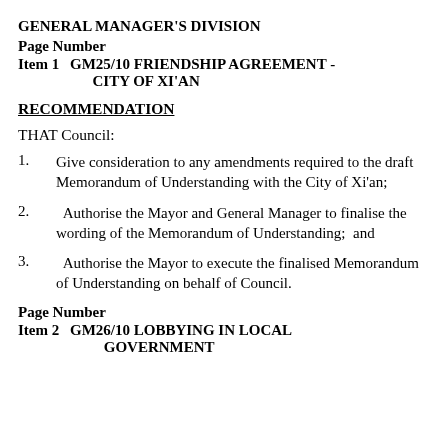GENERAL MANAGER'S DIVISION
Page Number
Item 1    GM25/10 FRIENDSHIP AGREEMENT - CITY OF XI'AN
RECOMMENDATION
THAT Council:
1.    Give consideration to any amendments required to the draft Memorandum of Understanding with the City of Xi'an;
2.    Authorise the Mayor and General Manager to finalise the wording of the Memorandum of Understanding;  and
3.    Authorise the Mayor to execute the finalised Memorandum of Understanding on behalf of Council.
Page Number
Item 2    GM26/10 LOBBYING IN LOCAL GOVERNMENT